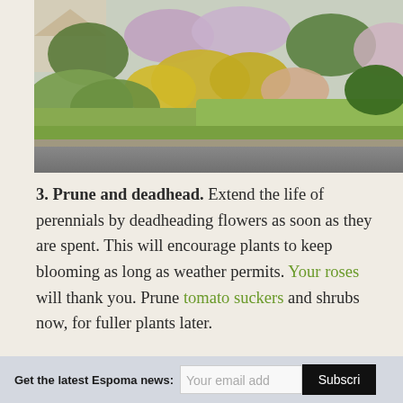[Figure (photo): Colorful garden flower bed along a residential street with yellow, purple, and pink flowers and green shrubs, with a driveway or road in the foreground]
3. Prune and deadhead. Extend the life of perennials by deadheading flowers as soon as they are spent. This will encourage plants to keep blooming as long as weather permits. Your roses will thank you. Prune tomato suckers and shrubs now, for fuller plants later.
Get the latest Espoma news: [Your email add] [Subscribe]